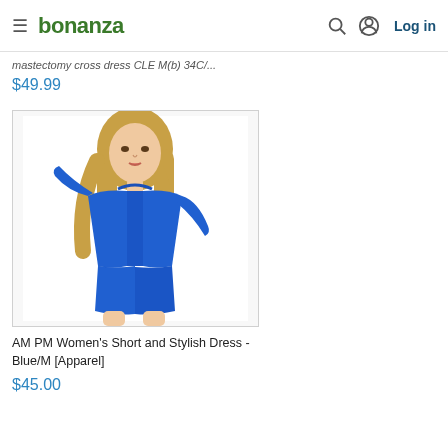bonanza | Log in
mastectomy cross dress CLE M(b) 34C/...
$49.99
[Figure (photo): Woman wearing a royal blue cold-shoulder long-sleeve top with matching blue shorts, posing against a white background.]
AM PM Women's Short and Stylish Dress - Blue/M [Apparel]
$45.00
[Figure (photo): Partial view of another product card at the bottom of the page.]